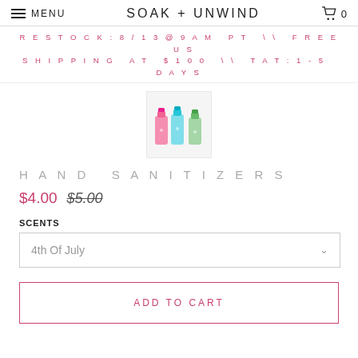MENU  SOAK + UNWIND  0
RESTOCK:8/13@9AM PT \\ FREE US SHIPPING AT $100 \\ TAT:1-5 DAYS
[Figure (photo): Colorful hand sanitizer bottles in pink, green, blue]
HAND SANITIZERS
$4.00  $5.00
SCENTS
4th Of July
ADD TO CART